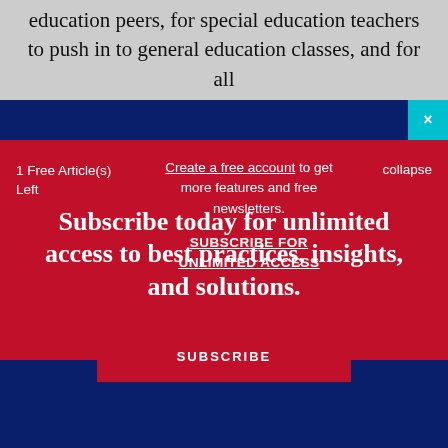education peers, for special education teachers to push in to general education classes, and for all
1 Free Article(s) Left
Create a free account to get more features and free newsletters.
SUBSCRIBE FOR UNLIMITED ACCESS
collapse
Subscribe today for unlimited access to best practices, insights, and solutions.
SUBSCRIBE